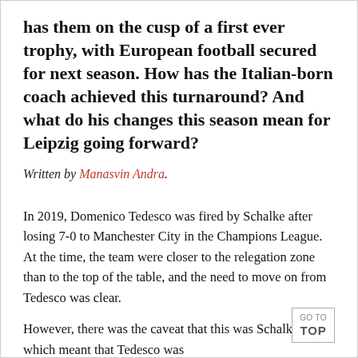has them on the cusp of a first ever trophy, with European football secured for next season. How has the Italian-born coach achieved this turnaround? And what do his changes this season mean for Leipzig going forward?
Written by Manasvin Andra.
In 2019, Domenico Tedesco was fired by Schalke after losing 7-0 to Manchester City in the Champions League. At the time, the team were closer to the relegation zone than to the top of the table, and the need to move on from Tedesco was clear.
However, there was the caveat that this was Schalke 04, which meant that Tedesco was